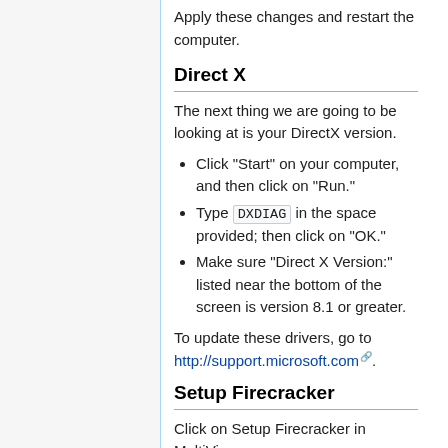Apply these changes and restart the computer.
Direct X
The next thing we are going to be looking at is your DirectX version.
Click "Start" on your computer, and then click on "Run."
Type DXDIAG in the space provided; then click on "OK."
Make sure "Direct X Version:" listed near the bottom of the screen is version 8.1 or greater.
To update these drivers, go to http://support.microsoft.com.
Setup Firecracker
Click on Setup Firecracker in MultiView.